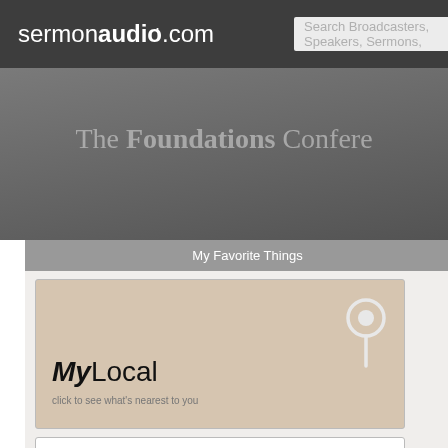sermonaudio.com | Search Broadcasters, Speakers, Sermons,
The Foundations Conference
My Favorite Things
[Figure (screenshot): MyLocal button - click to see what's nearest to you]
[Figure (screenshot): MyChurch button - click to specify your home church]
Home
Newsroom, ALL
Events | Notices | Blogs
Newest Audio | Video | Clips
Exposition of Esth
Home | Find Sermons
[Figure (photo): Texas Corners Bible Church thumbnail photo]
Texas Corners Bible Chu
David E. Thompson | Kalamazoo,
KEYWORD
Page 1 | Found: 19 sermons